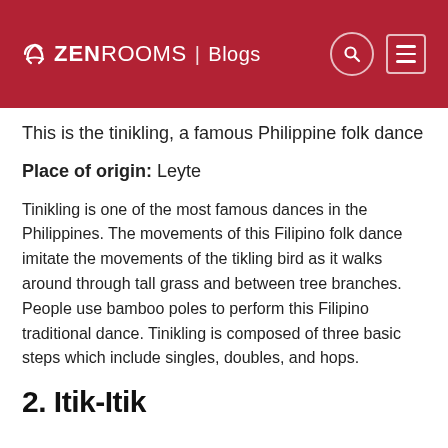ZEN ROOMS | Blogs
This is the tinikling, a famous Philippine folk dance
Place of origin: Leyte
Tinikling is one of the most famous dances in the Philippines. The movements of this Filipino folk dance imitate the movements of the tikling bird as it walks around through tall grass and between tree branches. People use bamboo poles to perform this Filipino traditional dance. Tinikling is composed of three basic steps which include singles, doubles, and hops.
2. Itik-Itik